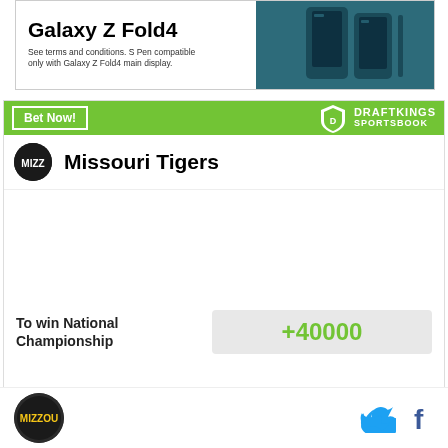[Figure (other): Samsung Galaxy Z Fold4 advertisement banner showing the phone and text 'Galaxy Z Fold4 - See terms and conditions. S Pen compatible only with Galaxy Z Fold4 main display.']
[Figure (infographic): DraftKings Sportsbook betting widget for Missouri Tigers, showing odds +40000 to win National Championship]
Missouri Tigers logo and social media icons for Twitter and Facebook